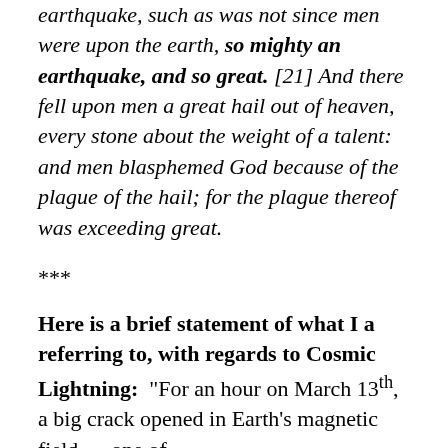earthquake, such as was not since men were upon the earth, so mighty an earthquake, and so great. [21] And there fell upon men a great hail out of heaven, every stone about the weight of a talent: and men blasphemed God because of the plague of the hail; for the plague thereof was exceeding great.
***
Here is a brief statement of what I a referring to, with regards to Cosmic Lightning: “For an hour on March 13th, a big crack opened in Earth’s magnetic field—one of